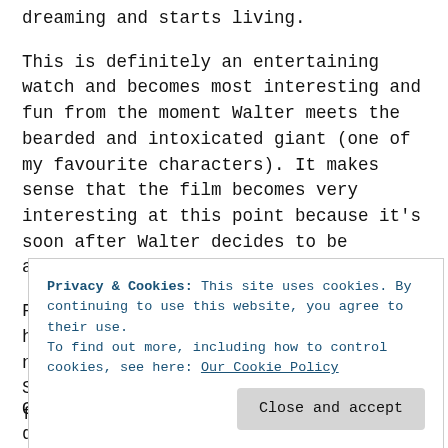dreaming and starts living.
This is definitely an entertaining watch and becomes most interesting and fun from the moment Walter meets the bearded and intoxicated giant (one of my favourite characters). It makes sense that the film becomes very interesting at this point because it's soon after Walter decides to be adventurous, brave and start living.
For those who realise / feel like they haven't done much that's considered noteworthy and want to change that, Stiller's movie is great inspiration to formulate a plan and take action.
Privacy & Cookies: This site uses cookies. By continuing to use this website, you agree to their use.
To find out more, including how to control cookies, see here: Our Cookie Policy
One of my own personal day (and night) dreams was about